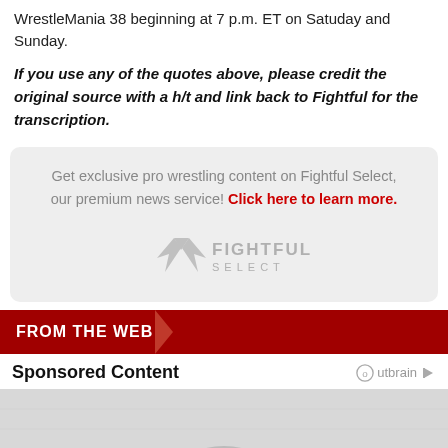WrestleMania 38 beginning at 7 p.m. ET on Satuday and Sunday.
If you use any of the quotes above, please credit the original source with a h/t and link back to Fightful for the transcription.
Get exclusive pro wrestling content on Fightful Select, our premium news service! Click here to learn more.
[Figure (logo): Fightful Select logo — wing icon with text FIGHTFUL SELECT]
FROM THE WEB
Sponsored Content
[Figure (photo): Partial advertisement image at bottom of page]